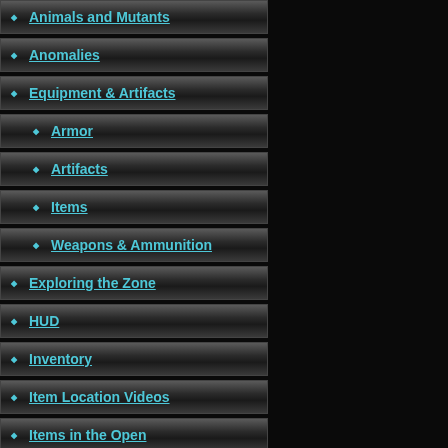Animals and Mutants
Anomalies
Equipment & Artifacts
Armor
Artifacts
Items
Weapons & Ammunition
Exploring the Zone
HUD
Inventory
Item Location Videos
Items in the Open
Maps
Interactive Maps
Optional Missions